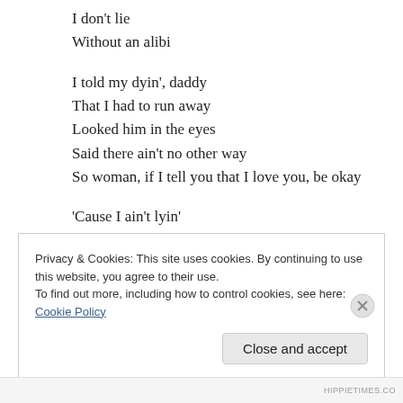I don't lie
Without an alibi

I told my dyin', daddy
That I had to run away
Looked him in the eyes
Said there ain't no other way
So woman, if I tell you that I love you, be okay

'Cause I ain't lyin'
I don't lie
Privacy & Cookies: This site uses cookies. By continuing to use this website, you agree to their use.
To find out more, including how to control cookies, see here: Cookie Policy
Close and accept
HIPPIETIMES.CO